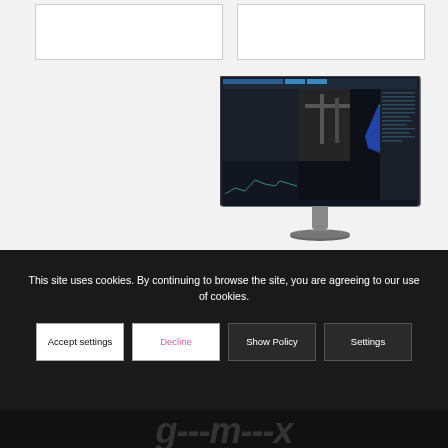[Figure (screenshot): Two white rectangular panel placeholders side by side at top of page]
[Figure (screenshot): Computer monitor displaying engineering software with 3D point cloud/mesh visualization showing colorized component scan on dark background interface]
This site uses cookies. By continuing to browse the site, you are agreeing to our use of cookies.
Accept settings | Decline | Show Policy | Settings
[Figure (logo): GOM/Zeiss style logo text partially visible at bottom]